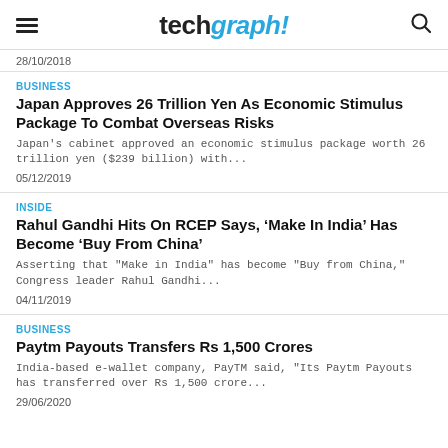techgraph!
28/10/2018
BUSINESS
Japan Approves 26 Trillion Yen As Economic Stimulus Package To Combat Overseas Risks
Japan's cabinet approved an economic stimulus package worth 26 trillion yen ($239 billion) with...
05/12/2019
INSIDE
Rahul Gandhi Hits On RCEP Says, ‘Make In India’ Has Become ‘Buy From China’
Asserting that "Make in India" has become "Buy from China," Congress leader Rahul Gandhi...
04/11/2019
BUSINESS
Paytm Payouts Transfers Rs 1,500 Crores
India-based e-wallet company, PayTM said, "Its Paytm Payouts has transferred over Rs 1,500 crore...
29/06/2020